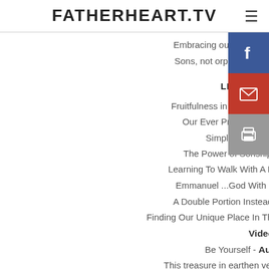FATHERHEART.TV
Embracing our new identity - Audio / Video
Sons, not orphans - Audio / Video / Notes
LIVING AS SONS
Fruitfulness in a Dry Season - Audio / Video
Our Ever Present Help - Audio / Video
Simple Faith - Audio / Video
The Power of Sonship - Audio / Video
Learning To Walk With A Limp - Audio / Video
Emmanuel ...God With Us - Audio / Video
A Double Portion Instead of Shame - Video
Finding Our Unique Place In The Body of Christ - Audio / Video
Be Yourself - Audio / Video
This treasure in earthen vessels - Audio / Video
Restoring childlike trust - Audio / Video
Reduced to love - Audio / Video / Notes